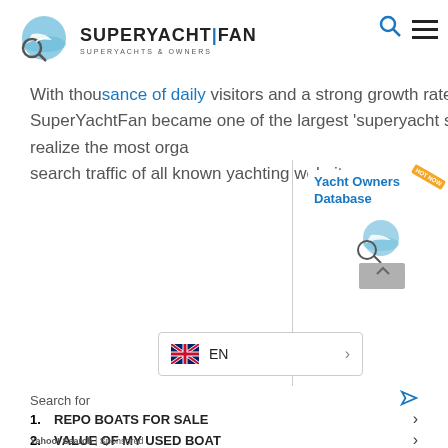[Figure (logo): SuperYachtFan logo with circular yacht/magnifying glass graphic and brand name text]
With thousands of daily visitors and a strong growth rate, SuperYachtFan became one of the largest 'superyacht sites'. We realize the most organic search traffic of all known yachting websites
[Figure (illustration): Yacht Owners Database promotional popup with logo and badge]
[Figure (screenshot): EN language selector with UK flag]
Search for
1. REPO BOATS FOR SALE
2. VALUE OF MY USED BOAT
Yahoo! Search | Sponsored